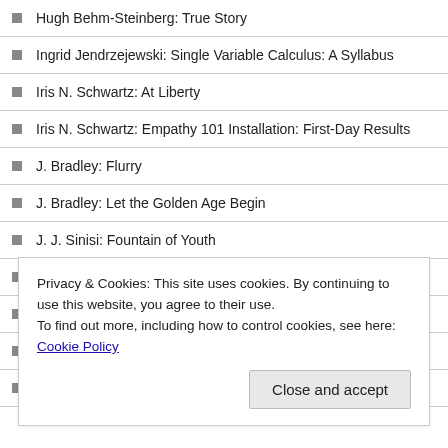Hugh Behm-Steinberg: True Story
Ingrid Jendrzejewski: Single Variable Calculus: A Syllabus
Iris N. Schwartz: At Liberty
Iris N. Schwartz: Empathy 101 Installation: First-Day Results
J. Bradley: Flurry
J. Bradley: Let the Golden Age Begin
J. J. Sinisi: Fountain of Youth
J.A. Pak: Unsalted
J.M. Taylor: Last Meal
J.R. Night: Daniel
Jack Fisher: Rising Waters
Privacy & Cookies: This site uses cookies. By continuing to use this website, you agree to their use. To find out more, including how to control cookies, see here: Cookie Policy
Close and accept